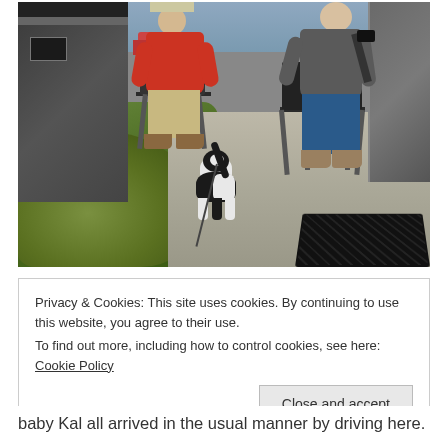[Figure (photo): Outdoor photo of two people sitting in camping chairs on a sidewalk/driveway beside an RV. A black and white cat wearing a red harness and leash stands between them. A man in a red sweater and khaki pants sits on the left, a woman in a gray top and blue jeans sits on the right. Green shrubs and grass are visible on the left side. A black mat is visible in the lower right corner.]
Privacy & Cookies: This site uses cookies. By continuing to use this website, you agree to their use.
To find out more, including how to control cookies, see here: Cookie Policy
Close and accept
baby Kal all arrived in the usual manner by driving here.